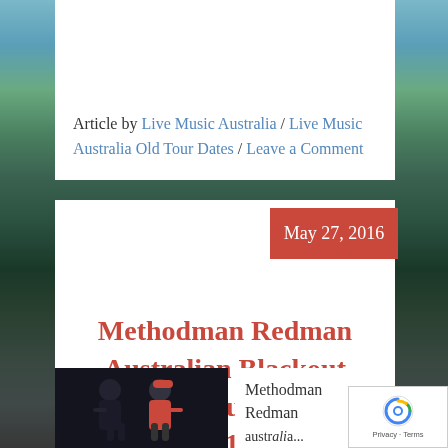Article by Live Music Australia / Live Music Australia Old Tour Dates / Leave a Comment
May 27, 2016
Methodman Redman Australian Blackout Tour 2016
[Figure (photo): Photo of Methodman and Redman performers]
Methodman Redman